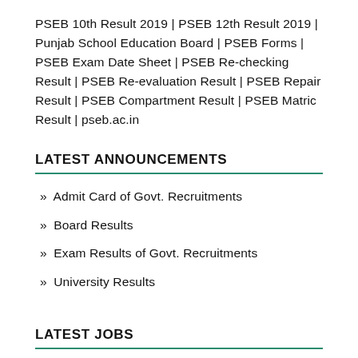PSEB 10th Result 2019 | PSEB 12th Result 2019 | Punjab School Education Board | PSEB Forms | PSEB Exam Date Sheet | PSEB Re-checking Result | PSEB Re-evaluation Result | PSEB Repair Result | PSEB Compartment Result | PSEB Matric Result | pseb.ac.in
LATEST ANNOUNCEMENTS
» Admit Card of Govt. Recruitments
» Board Results
» Exam Results of Govt. Recruitments
» University Results
LATEST JOBS